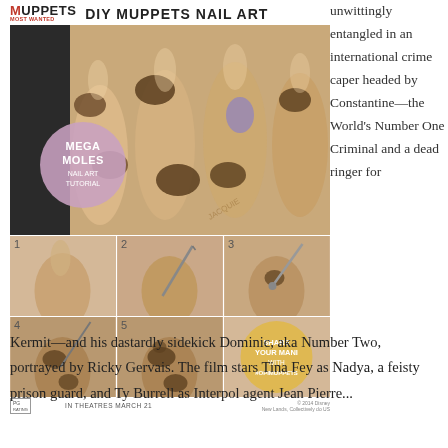[Figure (other): DIY Muppets Most Wanted Nail Art tutorial image with header logo, main nail photo with 'Mega Moles Nail Art Tutorial' overlay, 5 step-by-step nail art photos, share badge, and movie footer with PG rating, IN THEATRES MARCH 21, and copyright]
unwittingly entangled in an international crime caper headed by Constantine—the World's Number One Criminal and a dead ringer for
Kermit—and his dastardly sidekick Dominic, aka Number Two, portrayed by Ricky Gervais. The film stars Tina Fey as Nadya, a feisty prison guard, and Ty Burrell as Interpol agent Jean Pierre...